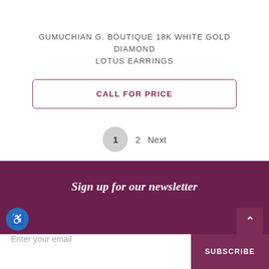GUMUCHIAN G. BOUTIQUE 18K WHITE GOLD DIAMOND LOTUS EARRINGS
CALL FOR PRICE
1  2  Next
Sign up for our newsletter
Enter your email
SUBSCRIBE